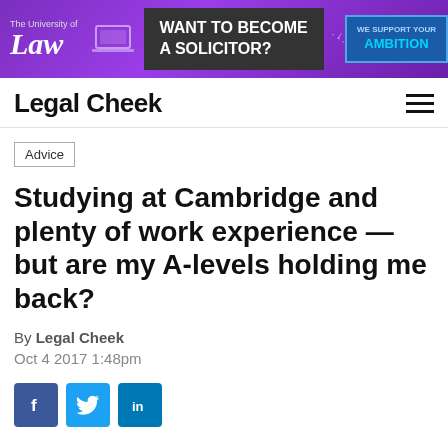[Figure (screenshot): University of Law banner advertisement: 'Want to Become a Solicitor?' with purple gradient background and 'We Support Your Ambition' badge]
Legal Cheek
Advice
Studying at Cambridge and plenty of work experience — but are my A-levels holding me back?
By Legal Cheek
Oct 4 2017 1:48pm
[Figure (infographic): Social media share buttons: Facebook, Twitter, LinkedIn]
I have been unsuccessful in every round for